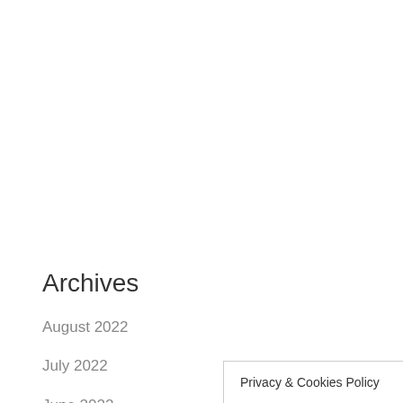Archives
August 2022
July 2022
June 2022
May 2022
Privacy & Cookies Policy